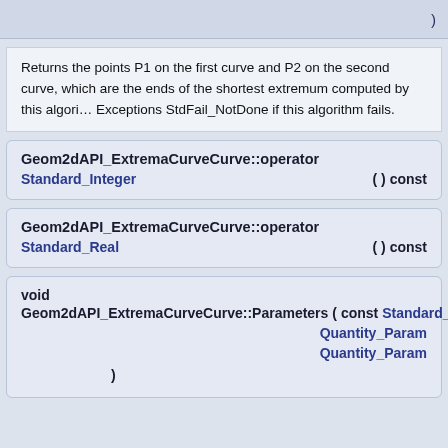)
Returns the points P1 on the first curve and P2 on the second curve, which are the ends of the shortest extremum computed by this algorithm. Exceptions StdFail_NotDone if this algorithm fails.
Geom2dAPI_ExtremaCurveCurve::operator Standard_Integer ( ) const
Geom2dAPI_ExtremaCurveCurve::operator Standard_Real ( ) const
void Geom2dAPI_ExtremaCurveCurve::Parameters ( const Standard_ Quantity_Param Quantity_Param )